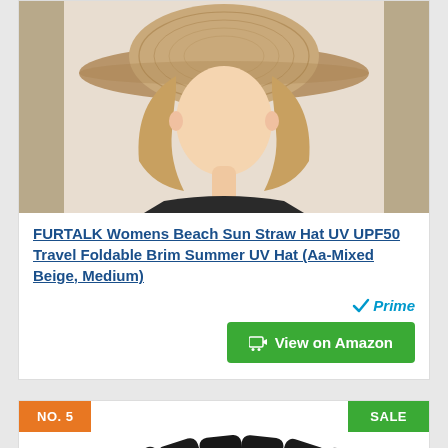[Figure (photo): Woman wearing a straw beach hat, blonde hair, cropped to show hat and face]
FURTALK Womens Beach Sun Straw Hat UV UPF50 Travel Foldable Brim Summer UV Hat (Aa-Mixed Beige, Medium)
[Figure (logo): Amazon Prime badge with checkmark and italic 'Prime' text in blue]
View on Amazon
NO. 5
SALE
[Figure (photo): Six pairs of black patterned dress socks displayed in a fan arrangement]